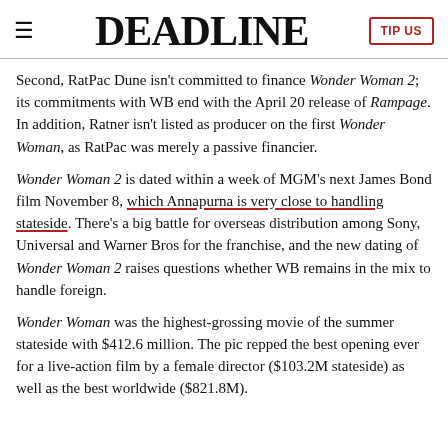DEADLINE | TIP US
Second, RatPac Dune isn't committed to finance Wonder Woman 2; its commitments with WB end with the April 20 release of Rampage. In addition, Ratner isn't listed as producer on the first Wonder Woman, as RatPac was merely a passive financier.
Wonder Woman 2 is dated within a week of MGM's next James Bond film November 8, which Annapurna is very close to handling stateside. There's a big battle for overseas distribution among Sony, Universal and Warner Bros for the franchise, and the new dating of Wonder Woman 2 raises questions whether WB remains in the mix to handle foreign.
Wonder Woman was the highest-grossing movie of the summer stateside with $412.6 million. The pic repped the best opening ever for a live-action film by a female director ($103.2M stateside) as well as the best worldwide ($821.8M).